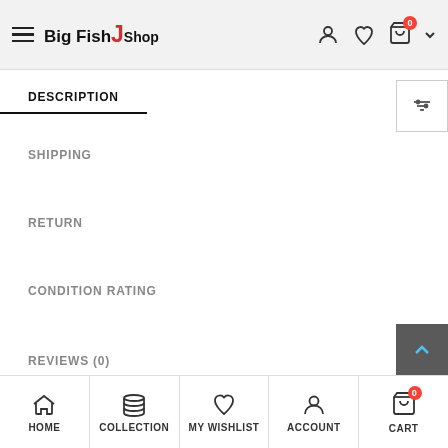Big Fish J Shop — navigation header with hamburger menu, logo, account, wishlist, and cart icons
DESCRIPTION
SHIPPING
RETURN
CONDITION RATING
REVIEWS (0)
Item Description
Craft puncher for handmade paper crafts. Sakura Cheery
HOME | COLLECTION | MY WISHLIST | ACCOUNT | CART (0)